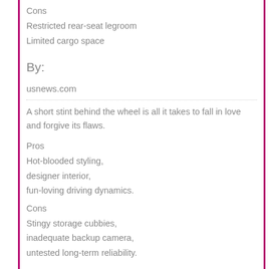Cons
Restricted rear-seat legroom
Limited cargo space
By:
usnews.com
A short stint behind the wheel is all it takes to fall in love and forgive its flaws.
Pros
Hot-blooded styling,
designer interior,
fun-loving driving dynamics.
Cons
Stingy storage cubbies,
inadequate backup camera,
untested long-term reliability.